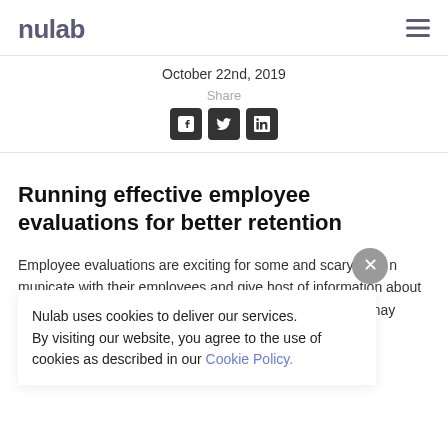nulab
October 22nd, 2019
Share
Running effective employee evaluations for better retention
Employee evaluations are exciting for some and scary for o[thers. Either way, they're an opportunity to com]municate [with your employees and gi]ve host[s of information about their performanc]e an a[nnual or semi-annual basis. They may involve ]and may or may not involve a raise. However, to attract and
Nulab uses cookies to deliver our services. By visiting our website, you agree to the use of cookies as described in our Cookie Policy.